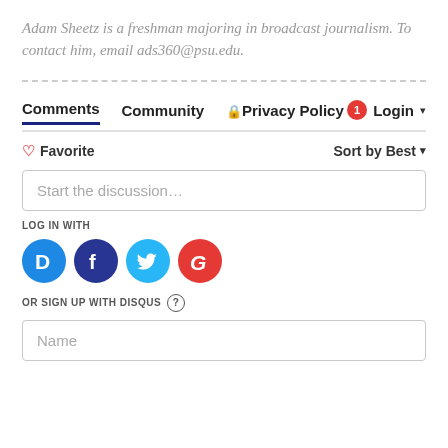Adam Sheetz is a freshman majoring in broadcast journalism. To contact him, email ads360@psu.edu.
[Figure (other): Dotted horizontal divider line]
Comments   Community   🔒 Privacy Policy   🔔 1 Login ▾
♡ Favorite   Sort by Best ▾
Start the discussion…
LOG IN WITH
[Figure (illustration): Social login icons: Disqus (D, blue), Facebook (f, dark blue), Twitter (bird, light blue), Google (G, red)]
OR SIGN UP WITH DISQUS ?
Name